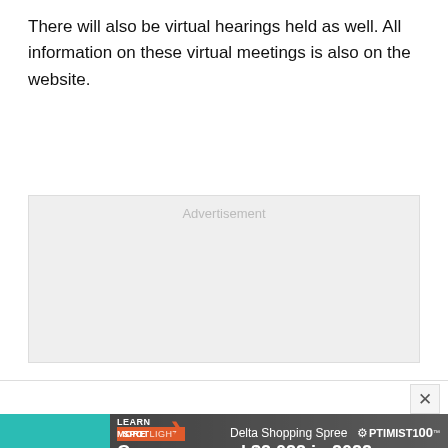There will also be virtual hearings held as well. All information on these virtual meetings is also on the website.
[Figure (other): Advertisement placeholder box with light gray background and 'Advertisement' label in light gray text]
[Figure (infographic): Spotlight promotional banner for Delta Shopping Spree. Teal left panel with SPOTLIGHT badge (orange/white). Photo of two women shopping with text: 'Can you spend $2,022 in 2022 seconds?' with LEARN MORE call to action and Optimist 100 logo.]